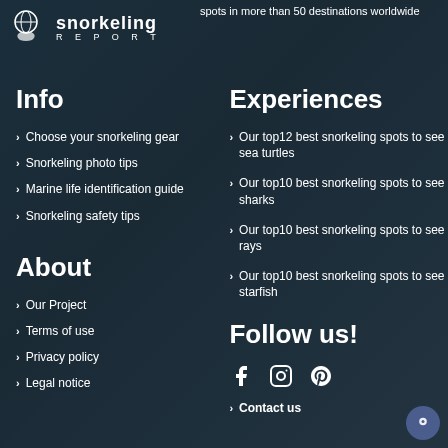[Figure (logo): Snorkeling Report logo with hand holding globe icon and text 'snorkeling REPORT']
spots in more than 50 destinations worldwide
Info
Choose your snorkeling gear
Snorkeling photo tips
Marine life identification guide
Snorkeling safety tips
Experiences
Our top12 best snorkeling spots to see sea turtles
Our top10 best snorkeling spots to see sharks
Our top10 best snorkeling spots to see rays
Our top10 best snorkeling spots to see starfish
About
Our Project
Terms of use
Privacy policy
Legal notice
Follow us!
[Figure (illustration): Social media icons: Facebook, Instagram, Pinterest]
Contact us